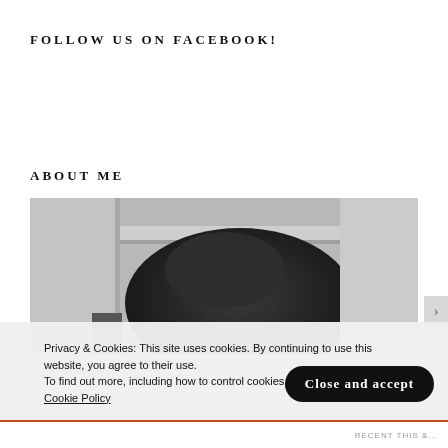FOLLOW US ON FACEBOOK!
ABOUT ME
[Figure (photo): Black and white photo of a person wearing a dark hat, close-up from behind/side, interior background visible.]
Privacy & Cookies: This site uses cookies. By continuing to use this website, you agree to their use.
To find out more, including how to control cookies, see here:
Cookie Policy
Close and accept
RECENT THIS &...